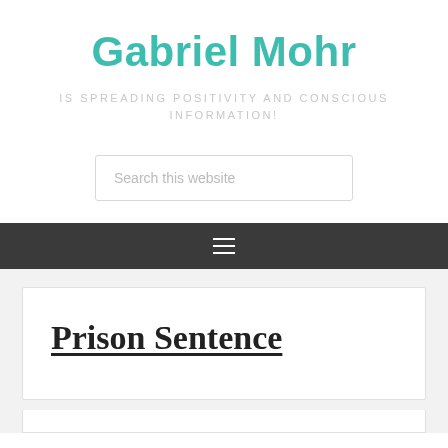Gabriel Mohr
IS SPREADING POSITIVITY AND CONSCIOUS INFORMATION!
[Figure (other): Search box with placeholder text 'Search this website']
[Figure (other): Dark navigation bar with hamburger menu icon (three horizontal lines)]
Prison Sentence